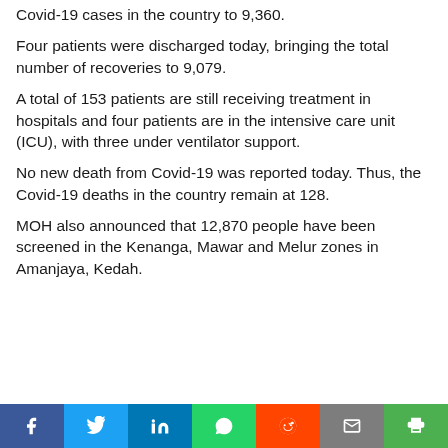Covid-19 cases in the country to 9,360.
Four patients were discharged today, bringing the total number of recoveries to 9,079.
A total of 153 patients are still receiving treatment in hospitals and four patients are in the intensive care unit (ICU), with three under ventilator support.
No new death from Covid-19 was reported today. Thus, the Covid-19 deaths in the country remain at 128.
MOH also announced that 12,870 people have been screened in the Kenanga, Mawar and Melur zones in Amanjaya, Kedah.
Social share bar: Facebook, Twitter, LinkedIn, WhatsApp, Reddit, Email, Print